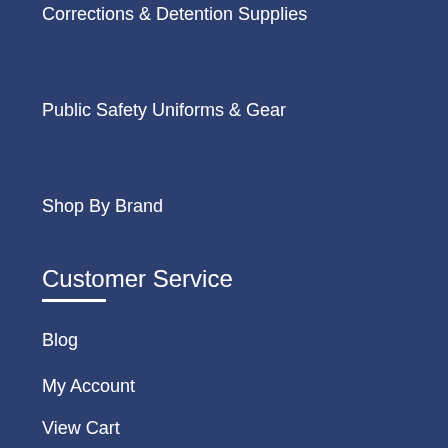Corrections & Detention Supplies
Public Safety Uniforms & Gear
Shop By Brand
Customer Service
Blog
My Account
View Cart
Other Links